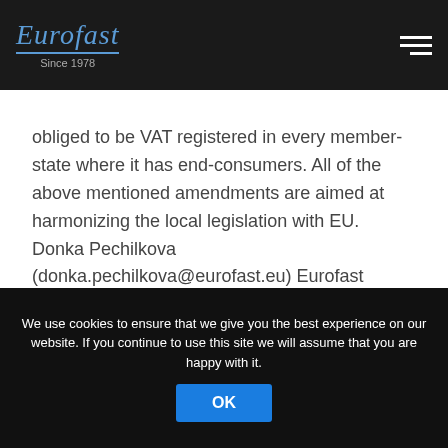Eurofast Since 1978
obliged to be VAT registered in every member-state where it has end-consumers. All of the above mentioned amendments are aimed at harmonizing the local legislation with EU. Donka Pechilkova (donka.pechilkova@eurofast.eu) Eurofast Global, Sofia Office Tel: +359 2 988 69 78 www.eurofast.eu
We use cookies to ensure that we give you the best experience on our website. If you continue to use this site we will assume that you are happy with it.